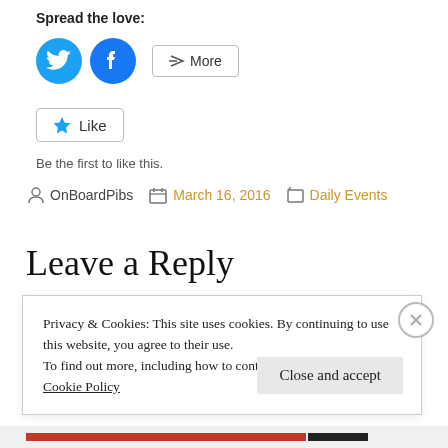Spread the love:
[Figure (infographic): Twitter and Facebook circular social share icons, plus a More button]
[Figure (infographic): Like button with star icon]
Be the first to like this.
OnBoardPibs   March 16, 2016   Daily Events
Leave a Reply
Privacy & Cookies: This site uses cookies. By continuing to use this website, you agree to their use.
To find out more, including how to control cookies, see here:
Cookie Policy
Close and accept